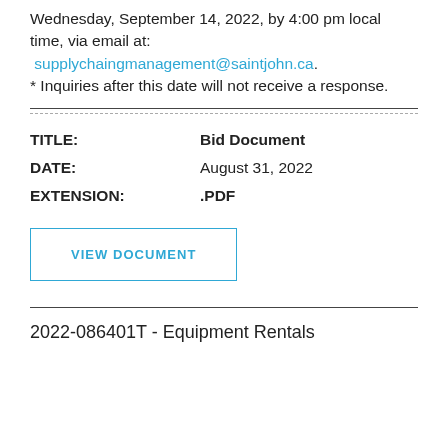Wednesday, September 14, 2022, by 4:00 pm local time, via email at: supplychaingmanagement@saintjohn.ca. * Inquiries after this date will not receive a response.
| Field | Value |
| --- | --- |
| TITLE: | Bid Document |
| DATE: | August 31, 2022 |
| EXTENSION: | .PDF |
VIEW DOCUMENT
2022-086401T - Equipment Rentals